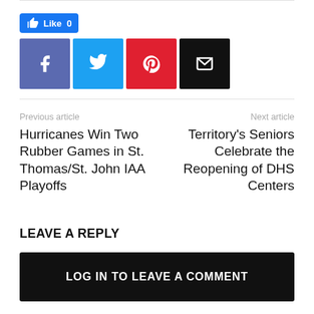[Figure (other): Facebook Like button showing count 0]
[Figure (other): Social share icons: Facebook (blue), Twitter (cyan), Pinterest (red), Email (black)]
Previous article
Next article
Hurricanes Win Two Rubber Games in St. Thomas/St. John IAA Playoffs
Territory's Seniors Celebrate the Reopening of DHS Centers
LEAVE A REPLY
LOG IN TO LEAVE A COMMENT